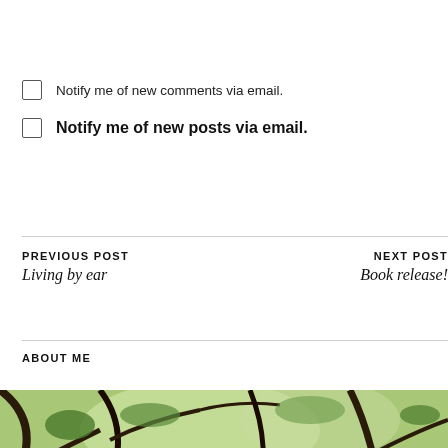Notify me of new comments via email.
Notify me of new posts via email.
PREVIOUS POST
Living by ear
NEXT POST
Book release!
ABOUT ME
[Figure (photo): Outdoor photo of a person among trees and foliage, partially visible at bottom of page]